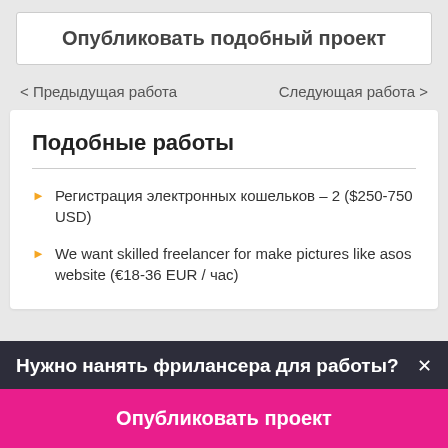Опубликовать подобный проект
< Предыдущая работа
Следующая работа >
Подобные работы
Регистрация электронных кошельков – 2 ($250-750 USD)
We want skilled freelancer for make pictures like asos website (€18-36 EUR / час)
Нужно нанять фрилансера для работы?×
Опубликовать проект